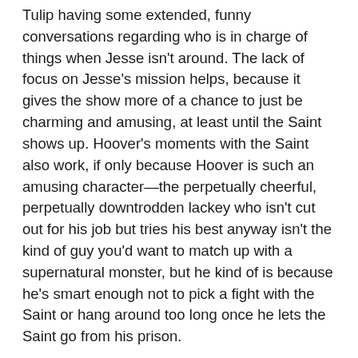Tulip having some extended, funny conversations regarding who is in charge of things when Jesse isn't around. The lack of focus on Jesse's mission helps, because it gives the show more of a chance to just be charming and amusing, at least until the Saint shows up. Hoover's moments with the Saint also work, if only because Hoover is such an amusing character—the perpetually cheerful, perpetually downtrodden lackey who isn't cut out for his job but tries his best anyway isn't the kind of guy you'd want to match up with a supernatural monster, but he kind of is because he's smart enough not to pick a fight with the Saint or hang around too long once he lets the Saint go from his prison.
That's a fun moment that director Michael Slovis emphasises, but in the end, after the joke of Hoover fleeing as fast as his white-suited legs can carry him, the laughter is over. The Saint is back in a big way, and he's ready to give Tulip more nightmares. His